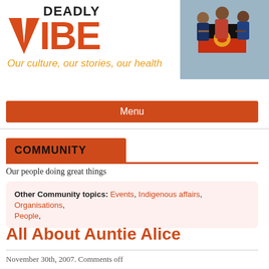[Figure (logo): Deadly Vibe logo with large orange V shape and bold text, plus tagline 'Our culture, our stories, our health' in orange cursive, and photo of people holding Aboriginal flag on the right]
Menu
COMMUNITY
Our people doing great things
Other Community topics: Events, Indigenous affairs, Organisations, People,
All About Auntie Alice
November 30th, 2007. Comments off